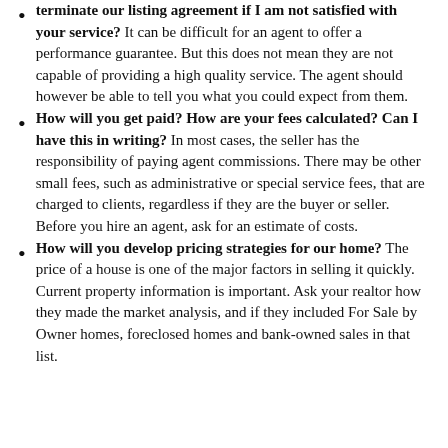terminate our listing agreement if I am not satisfied with your service? It can be difficult for an agent to offer a performance guarantee. But this does not mean they are not capable of providing a high quality service. The agent should however be able to tell you what you could expect from them.
How will you get paid? How are your fees calculated? Can I have this in writing? In most cases, the seller has the responsibility of paying agent commissions. There may be other small fees, such as administrative or special service fees, that are charged to clients, regardless if they are the buyer or seller. Before you hire an agent, ask for an estimate of costs.
How will you develop pricing strategies for our home? The price of a house is one of the major factors in selling it quickly. Current property information is important. Ask your realtor how they made the market analysis, and if they included For Sale by Owner homes, foreclosed homes and bank-owned sales in that list.